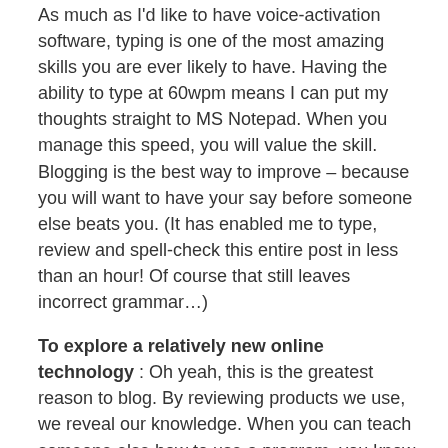As much as I'd like to have voice-activation software, typing is one of the most amazing skills you are ever likely to have. Having the ability to type at 60wpm means I can put my thoughts straight to MS Notepad. When you manage this speed, you will value the skill. Blogging is the best way to improve – because you will want to have your say before someone else beats you. (It has enabled me to type, review and spell-check this entire post in less than an hour! Of course that still leaves incorrect grammar…)
To explore a relatively new online technology : Oh yeah, this is the greatest reason to blog. By reviewing products we use, we reveal our knowledge. When you can teach someone else how to use a program, you know how much you have learnt.